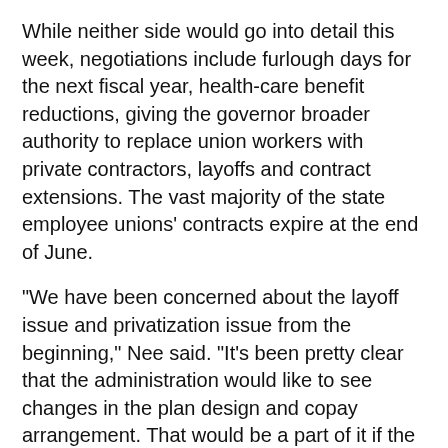While neither side would go into detail this week, negotiations include furlough days for the next fiscal year, health-care benefit reductions, giving the governor broader authority to replace union workers with private contractors, layoffs and contract extensions. The vast majority of the state employee unions' contracts expire at the end of June.
“We have been concerned about the layoff issue and privatization issue from the beginning,” Nee said. “It’s been pretty clear that the administration would like to see changes in the plan design and copay arrangement. That would be a part of it if the contracts are extended.”
Neither Neal nor Nee was willing to say how close they are to a deal.
“I’m still sort of cautiously optimistic that we can come to some sort of agreement,” Nee said. “I don’t think either side has been dragging its feet. We’ve met anytime they’ve indicated they want to meet … I think both parties have been working pretty hard and pretty seriously to get a deal that deals with the short-term economic discomfort and job